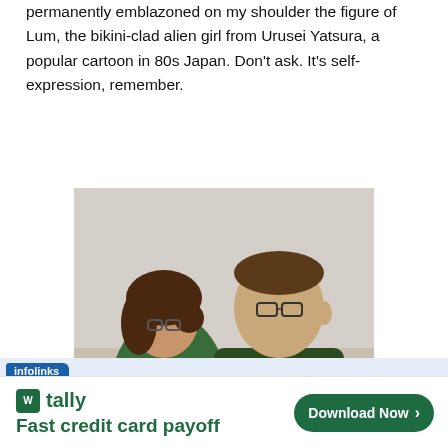permanently emblazoned on my shoulder the figure of Lum, the bikini-clad alien girl from Urusei Yatsura, a popular cartoon in 80s Japan. Don't ask. It's self-expression, remember.
[Figure (photo): Two people sitting together in an office or studio setting. A woman with dark hair wearing a floral top leans toward a young man in a dark green T-shirt who appears to be at a workstation.]
Charlotta Brunson is the lucky artist to stick me with the needle. We do the appropriate paperwork.
infolinks
tally  Fast credit card payoff  Download Now →